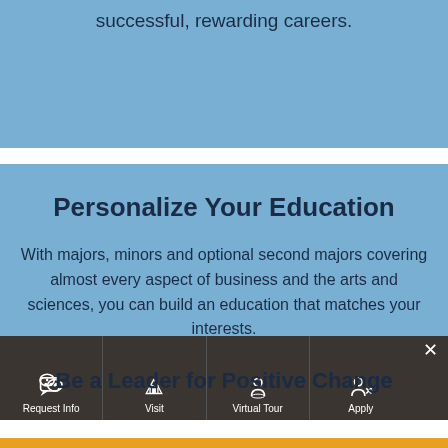successful, rewarding careers.
Personalize Your Education
With majors, minors and optional second majors covering almost every aspect of business and the arts and sciences, you can build an education that matches your interests.
[Figure (screenshot): Website navigation bar with icons and labels for: Request Info, Visit, Virtual Tour, Apply, and a close (×) button]
Be a Leader for Positive Change